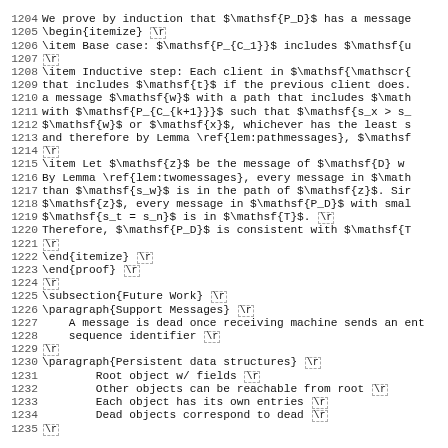Source code listing lines 1204-1235 showing LaTeX proof and subsection markup
1204 We prove by induction that $\mathsf{P_D}$ has a message
1205 \begin{itemize} \r
1206 \item Base case: $\mathsf{P_{C_1}}$ includes $\mathsf{u
1207 \r
1208 \item Inductive step: Each client in $\mathsf{\mathscr{
1209 that includes $\mathsf{t}$ if the previous client does.
1210 a message $\mathsf{w}$ with a path that includes $\math
1211 with $\mathsf{P_{C_{k+1}}}$ such that $\mathsf{s_x > s_
1212 $\mathsf{w}$ or $\mathsf{x}$, whichever has the least s
1213 and therefore by Lemma \ref{lem:pathmessages}, $\mathsf
1214 \r
1215 \item Let $\mathsf{z}$ be the message of $\mathsf{D} w
1216 By Lemma \ref{lem:twomessages}, every message in $\math
1217 than $\mathsf{s_w}$ is in the path of $\mathsf{z}$. Sir
1218 $\mathsf{z}$, every message in $\mathsf{P_D}$ with smal
1219 $\mathsf{s_t = s_n}$ is in $\mathsf{T}$. \r
1220 Therefore, $\mathsf{P_D}$ is consistent with $\mathsf{T
1221 \r
1222 \end{itemize} \r
1223 \end{proof} \r
1224 \r
1225 \subsection{Future Work} \r
1226 \paragraph{Support Messages} \r
1227     A message is dead once receiving machine sends an ent
1228     sequence identifier \r
1229 \r
1230 \paragraph{Persistent data structures} \r
1231         Root object w/ fields \r
1232         Other objects can be reachable from root \r
1233         Each object has its own entries \r
1234         Dead objects correspond to dead \r
1235 \r